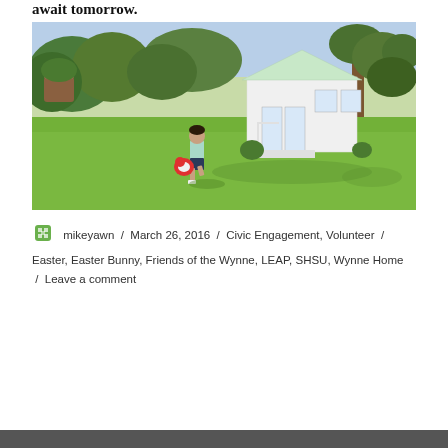await tomorrow.
[Figure (photo): A young child running on a green lawn in front of a small white cottage-style playhouse surrounded by trees and shrubs.]
mikeyawn / March 26, 2016 / Civic Engagement, Volunteer / Easter, Easter Bunny, Friends of the Wynne, LEAP, SHSU, Wynne Home / Leave a comment